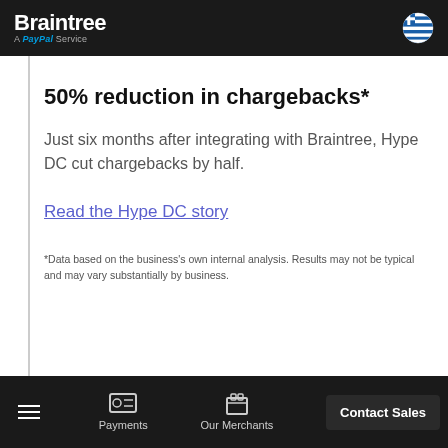Braintree A PayPal Service
50% reduction in chargebacks*
Just six months after integrating with Braintree, Hype DC cut chargebacks by half.
Read the Hype DC story
*Data based on the business's own internal analysis. Results may not be typical and may vary substantially by business.
Payments | Our Merchants | Contact Sales